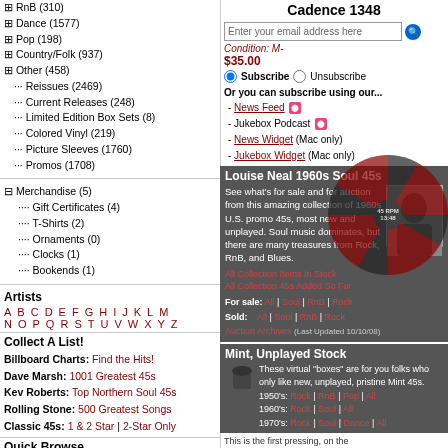RnB (310)
Dance (1577)
Pop (198)
Country/Folk (937)
Other (458)
Reissues (2469)
Current Releases (248)
Limited Edition Box Sets (8)
Colored Vinyl (219)
Picture Sleeves (1760)
Promos (1708)
Merchandise (5)
Gift Certificates (4)
T-Shirts (2)
Ornaments (0)
Clocks (1)
Bookends (1)
Artists
A B C D E F G H I J K L M
N O P Q R S T U V W X Y Z
Collect A List!
Billboard Charts: Find the Hits!
Dave Marsh: 1001 Greatest 45s
Kev Roberts: Top Northern Soul 45s
Rolling Stone: 500 Greatest Songs
Classic 45s: 1 & 2 Star | 2-Star Only
Quick Browse
Browse Artists
Browse Labels
Browse Producers/Arrangers
Browse Songwriters
Bargain Bin
Rummage through hundreds of original- 45s for $0.99...
Cadence 1348
Enter your email address here
Condition: M-
$35.00
Subscribe  Unsubscribe
Or you can subscribe using our...
- News Feed
- Jukebox Podcast
- News Widget (Mac only)
- Jukebox Widget (Mac only)
Louise Neal 1960s Soul 45s
See what's for sale and for auction from this amazing collection of 1960s U.S. promo 45s, most new and unplayed. Soul music dominates, but there are many treasures from Rock, RnB, and Blues.
All Collection Items In Stock
All Collection 45s Added So Far
For sale: All | Soul | RnB | Rock
Sold: All | Soul | RnB | Rock
Auction Archives (Last Updated 10/10/08)
[Figure (photo): Photo of Louise Neal]
Mint, Unplayed Stock
These virtual "boxes" are for you folks who only like new, unplayed, pristine Mint 45s.
1950's: Rock | RnB | Pop | All
1960's: Rock | Soul | All
1970's: Rock | Soul | Dance | All
This is the first pressing, on the with silver print. By the way, this album single whose sides only a
Design your own virtual "box" using our Advanced Search form: compilation albums. Note...